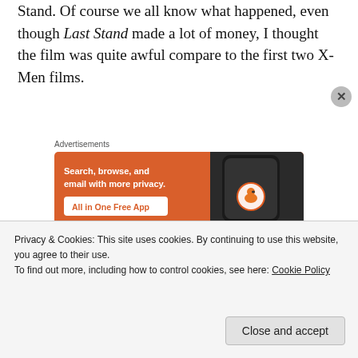Stand. Of course we all know what happened, even though Last Stand made a lot of money, I thought the film was quite awful compare to the first two X-Men films.
Advertisements
[Figure (infographic): DuckDuckGo app advertisement banner on orange background with phone showing duck logo. Text: Search, browse, and email with more privacy. All in One Free App]
As of now, Fox hasn't announce who will take
Privacy & Cookies: This site uses cookies. By continuing to use this website, you agree to their use.
To find out more, including how to control cookies, see here: Cookie Policy
Close and accept